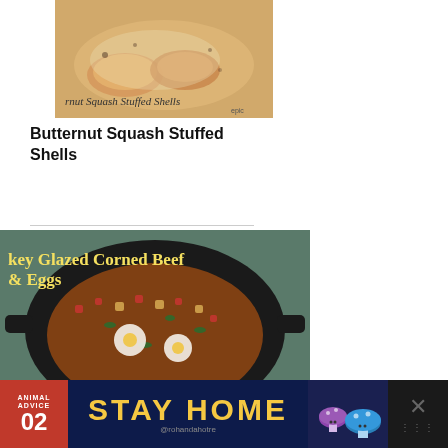[Figure (photo): Photo of butternut squash stuffed shells dish with text overlay reading 'rnut Squash Stuffed Shells' and 'epic' watermark]
Butternut Squash Stuffed Shells
[Figure (photo): Photo of a cast iron skillet with glazed corned beef and eggs hash, with text overlay reading 'key Glazed Corned Beef & Eggs']
[Figure (photo): Advertisement banner: ANIMAL ADVICE 02 STAY HOME @rohandahotre with illustrated mushroom characters]